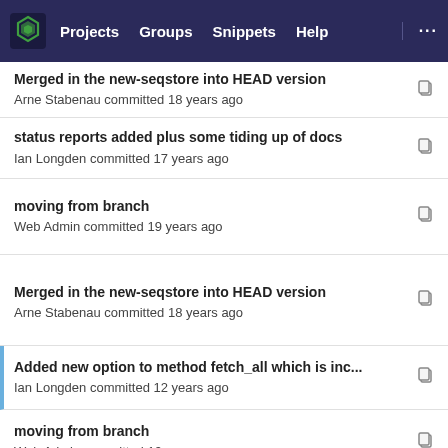Projects  Groups  Snippets  Help  ...
Merged in the new-seqstore into HEAD version
Arne Stabenau committed 18 years ago
status reports added plus some tiding up of docs
Ian Longden committed 17 years ago
moving from branch
Web Admin committed 19 years ago
Merged in the new-seqstore into HEAD version
Arne Stabenau committed 18 years ago
Added new option to method fetch_all which is inc...
Ian Longden committed 12 years ago
moving from branch
Web Admin committed 19 years ago